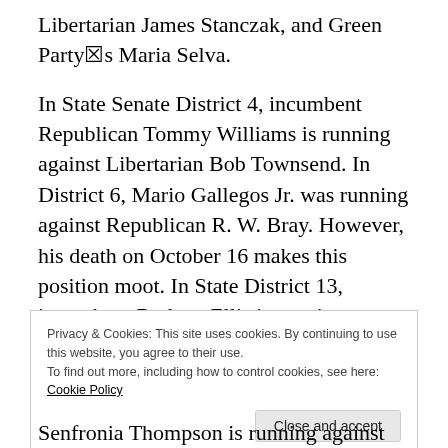Libertarian James Stanczak, and Green Party's Maria Selva.
In State Senate District 4, incumbent Republican Tommy Williams is running against Libertarian Bob Townsend. In District 6, Mario Gallegos Jr. was running against Republican R. W. Bray. However, his death on October 16 makes this position moot. In State District 13, incumbent Rodney Ellis is running unopposed.
Privacy & Cookies: This site uses cookies. By continuing to use this website, you agree to their use.
To find out more, including how to control cookies, see here: Cookie Policy
Senfronia Thompson is running against